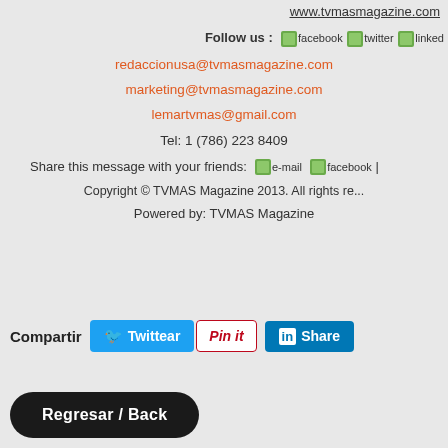www.tvmasmagazine.com
Follow us : [facebook] [twitter] [linked]
redaccionusa@tvmasmagazine.com
marketing@tvmasmagazine.com
lemartvmas@gmail.com
Tel: 1 (786) 223 8409
Share this message with your friends: [e-mail] [facebook]
Copyright © TVMAS Magazine 2013. All rights re...
Powered by: TVMAS Magazine
Compartir  Twittear  Pin it  Share
Regresar / Back